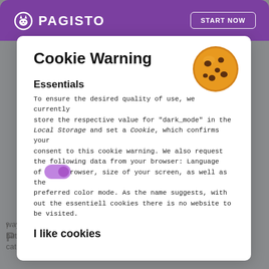[Figure (logo): Pagisto logo with cat icon on purple header bar]
START NOW
Cookie Warning
[Figure (illustration): Cookie emoji illustration]
Essentials
To ensure the desired quality of use, we currently store the respective value for "dark_mode" in the Local Storage and set a Cookie, which confirms your consent to this cookie warning. We also request the following data from your browser: Language of your browser, size of your screen, as well as the preferred color mode. As the name suggests, without the essentiell cookies there is no website to be visited.
I like cookies